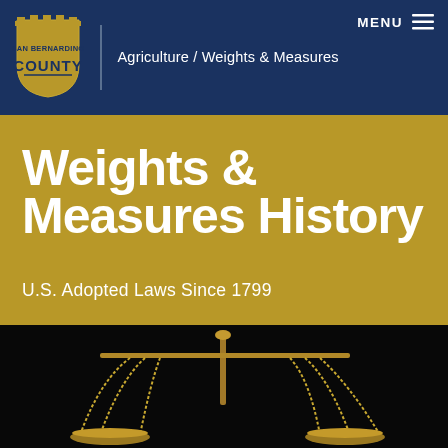San Bernardino County — Agriculture / Weights & Measures
Weights & Measures History
U.S. Adopted Laws Since 1799
[Figure (photo): Close-up photograph of a brass balance scale (scales of justice) with gold chains against a dark background]